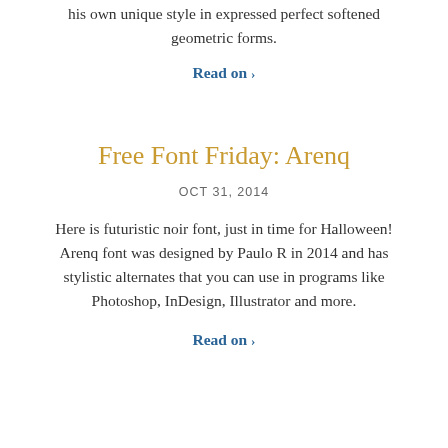his own unique style in expressed perfect softened geometric forms.
Read on ›
Free Font Friday: Arenq
OCT 31, 2014
Here is futuristic noir font, just in time for Halloween! Arenq font was designed by Paulo R in 2014 and has stylistic alternates that you can use in programs like Photoshop, InDesign, Illustrator and more.
Read on ›